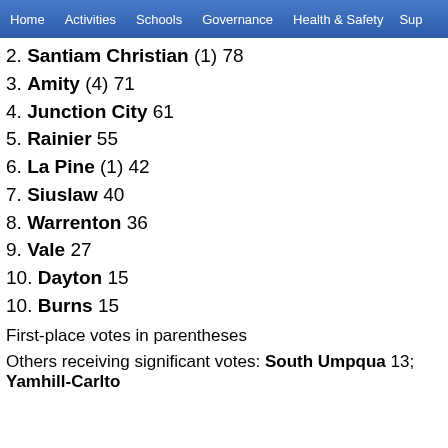Home   Activities   Schools   Governance   Health & Safety   Sup...
2. Santiam Christian (1) 78
3. Amity (4) 71
4. Junction City 61
5. Rainier 55
6. La Pine (1) 42
7. Siuslaw 40
8. Warrenton 36
9. Vale 27
10. Dayton 15
10. Burns 15
First-place votes in parentheses
Others receiving significant votes: South Umpqua 13; Yamhill-Carlton...